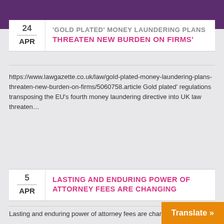'GOLD PLATED' MONEY LAUNDERING PLANS THREATEN NEW BURDEN ON FIRMS'
24 APR — 'GOLD PLATED' MONEY LAUNDERING PLANS THREATEN NEW BURDEN ON FIRMS'
https://www.lawgazette.co.uk/law/gold-plated-money-laundering-plans-threaten-new-burden-on-firms/5060758.article Gold plated' regulations transposing the EU's fourth money laundering directive into UK law threaten…
5 APR — LASTING AND ENDURING POWER OF ATTORNEY FEES ARE CHANGING
Lasting and enduring power of attorney fees are changing fees…